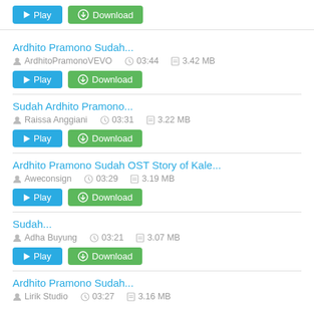Play | Download (top buttons)
Ardhito Pramono Sudah... | ArdhitoPramonoVEVO | 03:44 | 3.42 MB | Play | Download
Sudah Ardhito Pramono... | Raissa Anggiani | 03:31 | 3.22 MB | Play | Download
Ardhito Pramono Sudah OST Story of Kale... | Aweconsign | 03:29 | 3.19 MB | Play | Download
Sudah... | Adha Buyung | 03:21 | 3.07 MB | Play | Download
Ardhito Pramono Sudah... | Lirik Studio | 03:27 | 3.16 MB